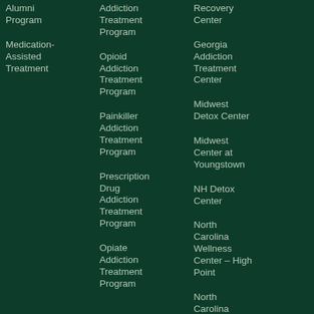Alumni Program
Medication-Assisted Treatment
Addiction Treatment Program
Opioid Addiction Treatment Program
Painkiller Addiction Treatment Program
Prescription Drug Addiction Treatment Program
Opiate Addiction Treatment Program
Recovery Center
Georgia Addiction Treatment Center
Midwest Detox Center
Midwest Center at Youngstown
NH Detox Center
North Carolina Wellness Center – High Point
North Carolina Wellness Center –